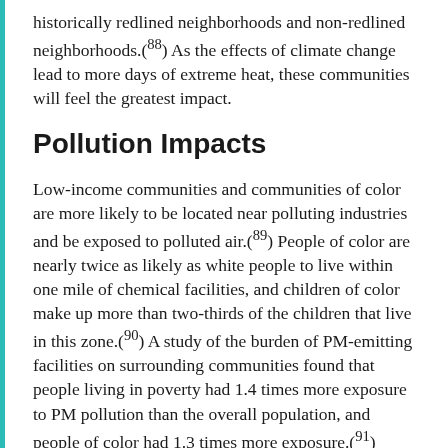historically redlined neighborhoods and non-redlined neighborhoods.(88) As the effects of climate change lead to more days of extreme heat, these communities will feel the greatest impact.
Pollution Impacts
Low-income communities and communities of color are more likely to be located near polluting industries and be exposed to polluted air.(89) People of color are nearly twice as likely as white people to live within one mile of chemical facilities, and children of color make up more than two-thirds of the children that live in this zone.(90) A study of the burden of PM-emitting facilities on surrounding communities found that people living in poverty had 1.4 times more exposure to PM pollution than the overall population, and people of color had 1.3 times more exposure.(91)
In Imperial County, California, residents suffer from